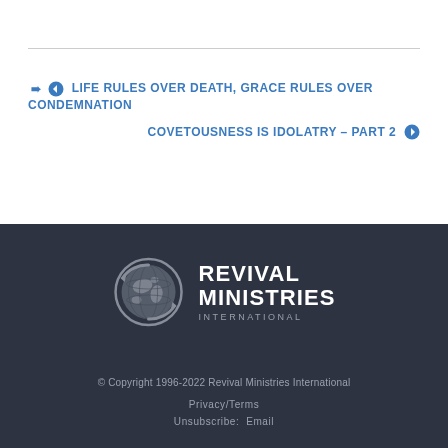❮ LIFE RULES OVER DEATH, GRACE RULES OVER CONDEMNATION
COVETOUSNESS IS IDOLATRY – PART 2 ❯
[Figure (logo): Revival Ministries International logo with globe icon]
© Copyright 1996-2022 Revival Ministries International
Privacy/Terms
Unsubscribe: Email